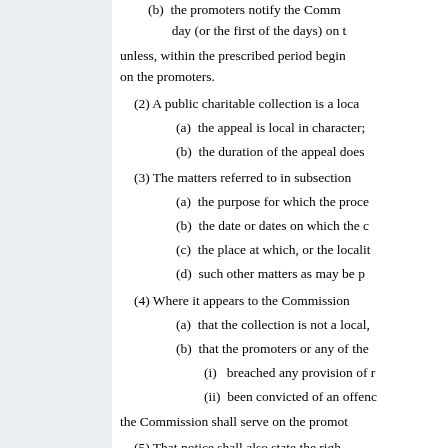(b)  the promoters notify the Commission before the day (or the first of the days) on which...
unless, within the prescribed period beginning with the day on the promoters.
(2) A public charitable collection is a local...
(a)  the appeal is local in character;
(b)  the duration of the appeal does...
(3) The matters referred to in subsection...
(a)  the purpose for which the proce...
(b)  the date or dates on which the c...
(c)  the place at which, or the localit...
(d)  such other matters as may be p...
(4) Where it appears to the Commission...
(a)  that the collection is not a local,...
(b)  that the promoters or any of the...
(i)  breached any provision of r...
(ii)  been convicted of an offenc...
the Commission shall serve on the promot...
(5) That notice shall also state the righ...